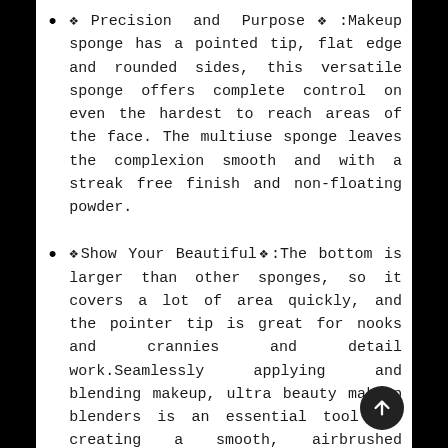✦Precision and Purpose✦:Makeup sponge has a pointed tip, flat edge and rounded sides, this versatile sponge offers complete control on even the hardest to reach areas of the face. The multiuse sponge leaves the complexion smooth and with a streak free finish and non-floating powder.
✦Show Your Beautiful✦:The bottom is larger than other sponges, so it covers a lot of area quickly, and the pointer tip is great for nooks and crannies and detail work.Seamlessly applying and blending makeup, ultra beauty makeup blenders is an essential tool for creating a smooth, airbrushed finish.
✦Material✦✦Latex-free material✦Q bomb soft